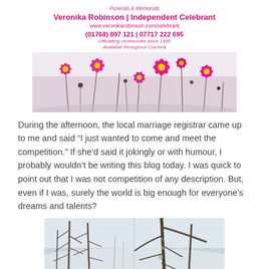Funerals & Memorials
Veronika Robinson | Independent Celebrant
www.veronikarobinson.com/celebrant
(01768) 897 121 | 07717 222 695
Officiating ceremonies since 1995
Available throughout Cumbria
[Figure (photo): Pink cosmos flowers on white/light background, decorative banner image]
During the afternoon, the local marriage registrar came up to me and said “I just wanted to come and meet the competition.” If she’d said it jokingly or with humour, I probably wouldn’t be writing this blog today. I was quick to point out that I was not competition of any description. But, even if I was, surely the world is big enough for everyone’s dreams and talents?
[Figure (photo): Tall pine/larch trees in a misty forest setting, two panels side by side]